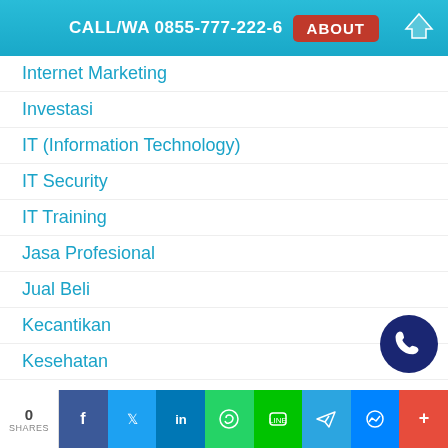CALL/WA 0855-777-222-6  ABOUT
Internet Marketing
Investasi
IT (Information Technology)
IT Security
IT Training
Jasa Profesional
Jual Beli
Kecantikan
Kesehatan
Kesenian
Kisah Inspiratif
Klinik Fotografi
0 SHARES  [Facebook] [Twitter] [LinkedIn] [WhatsApp] [Line] [Telegram] [Messenger] [More]